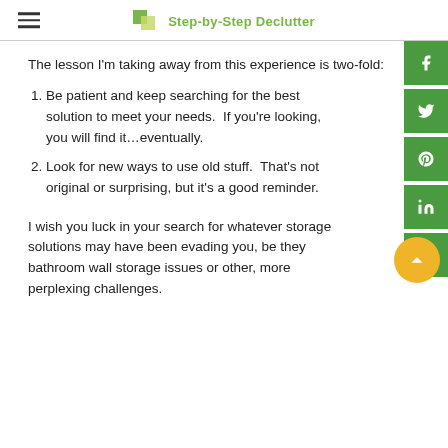Step-by-Step Declutter
The lesson I'm taking away from this experience is two-fold:
Be patient and keep searching for the best solution to meet your needs. If you're looking, you will find it…eventually.
Look for new ways to use old stuff. That's not original or surprising, but it's a good reminder.
I wish you luck in your search for whatever storage solutions may have been evading you, be they bathroom wall storage issues or other, more perplexing challenges.